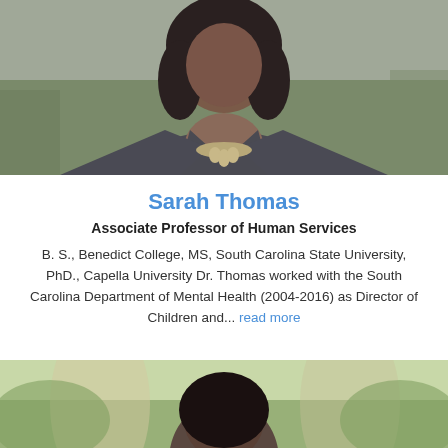[Figure (photo): Professional headshot of Sarah Thomas, a woman wearing a dark gray blazer and statement necklace, photographed outdoors]
Sarah Thomas
Associate Professor of Human Services
B. S., Benedict College, MS, South Carolina State University, PhD., Capella University Dr. Thomas worked with the South Carolina Department of Mental Health (2004-2016) as Director of Children and... read more
[Figure (photo): Partial photo of another person, cropped at bottom of page, outdoors background]